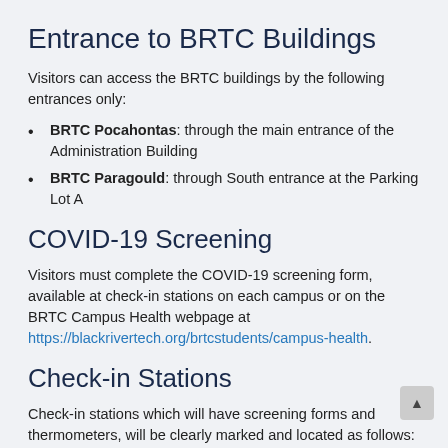Entrance to BRTC Buildings
Visitors can access the BRTC buildings by the following entrances only:
BRTC Pocahontas: through the main entrance of the Administration Building
BRTC Paragould: through South entrance at the Parking Lot A
COVID-19 Screening
Visitors must complete the COVID-19 screening form, available at check-in stations on each campus or on the BRTC Campus Health webpage at https://blackrivertech.org/brtcstudents/campus-health.
Check-in Stations
Check-in stations which will have screening forms and thermometers, will be clearly marked and located as follows: